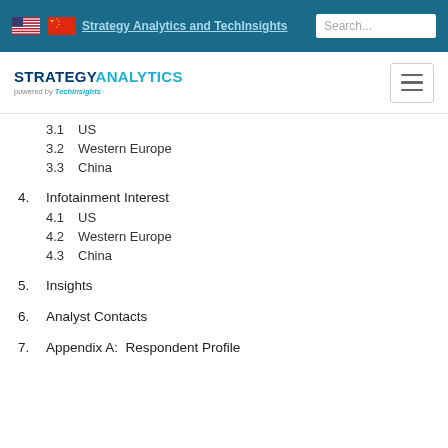Strategy Analytics and TechInsights
[Figure (logo): Strategy Analytics powered by TechInsights logo with hamburger menu]
3.1  US
3.2  Western Europe
3.3  China
4.  Infotainment Interest
4.1  US
4.2  Western Europe
4.3  China
5.  Insights
6.  Analyst Contacts
7.  Appendix A:  Respondent Profile